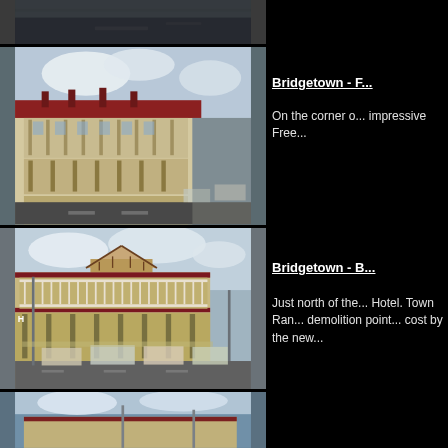[Figure (photo): Top partial photo of a street scene (cropped)]
[Figure (photo): Photo of the Bridgetown Freemasons Hotel on a corner, a two-storey Federation era building with verandahs]
Bridgetown - F...
On the corner o... impressive Free...
[Figure (photo): Photo of Bridgetown Building along main street, two-storey with verandah balcony, vehicles parked on road]
Bridgetown - B...
Just north of the... Hotel. Town Ran... demolition point... cost by the new...
[Figure (photo): Partial bottom photo of a building (cropped)]